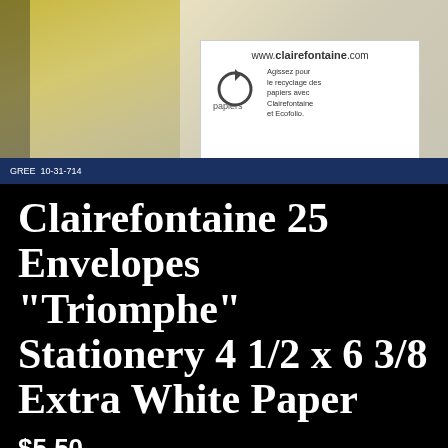[Figure (photo): Clairefontaine product package showing the brand logo, recycling information, www.clairefontaine.com URL, and a papiers recycling symbol with French text 'Agissez pour le recyclage des papiers avec Clairefontaine et Ecofolio.']
Clairefontaine 25 Envelopes "Triomphe" Stationery 4 1/2 x 6 3/8 Extra White Paper
$5.50
Shipping to United States: $4.95
Quantity
ADD TO CART